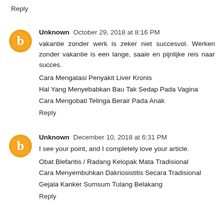Reply
Unknown  October 29, 2018 at 8:16 PM
vakantie zonder werk is zeker niet succesvol. Werken zonder vakantie is een lange, saaie en pijnlijke reis naar succes.
Cara Mengatasi Penyakit Liver Kronis
Hal Yang Menyebabkan Bau Tak Sedap Pada Vagina
Cara Mengobati Telinga Berair Pada Anak
Reply
Unknown  December 10, 2018 at 6:31 PM
I see your point, and I completely love your article.
Obat Blefaritis / Radang Kelopak Mata Tradisional
Cara Menyembuhkan Dakriosistitis Secara Tradisional
Gejala Kanker Sumsum Tulang Belakang
Reply